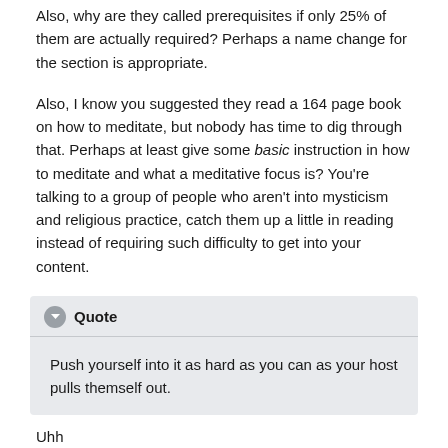Also, why are they called prerequisites if only 25% of them are actually required? Perhaps a name change for the section is appropriate.
Also, I know you suggested they read a 164 page book on how to meditate, but nobody has time to dig through that. Perhaps at least give some basic instruction in how to meditate and what a meditative focus is? You're talking to a group of people who aren't into mysticism and religious practice, catch them up a little in reading instead of requiring such difficulty to get into your content.
Quote
Push yourself into it as hard as you can as your host pulls themself out.
Uhh
first, himself* Them is plural. I suppose that's nitpicking though
Second, what does this even mean? Possession isn't some mental struggle, right? Like, maybe it's just me, but I don't have cerebral relay as moving comes pretty naturally. Tulpas are able